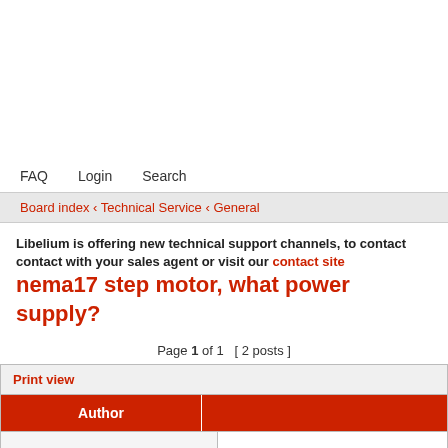FAQ  Login  Search
Board index ‹ Technical Service ‹ General
Libelium is offering new technical support channels, to contact with your sales agent or visit our contact site
nema17 step motor, what power supply?
Page 1 of 1  [ 2 posts ]
| Author |  |
| --- | --- |
| aibiaoxian3 | Post subject: nema17 step motor, what power supply? |